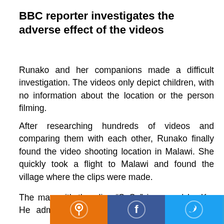BBC reporter investigates the adverse effect of the videos
Runako and her companions made a difficult investigation. The videos only depict children, with no information about the location or the person filming.
After researching hundreds of videos and comparing them with each other, Runako finally found the video shooting location in Malawi. She quickly took a flight to Malawi and found the village where the clips were made.
The man with the alias “SuSu” is named Lu Ke. He admitted to filming videos of African kids speaking Chinese. After filming, he sold them to websites in Mainland China for $70 per video and paid the children abo
[Figure (other): Social media share bar with icons for various platforms: orange (pin/location), Facebook (blue), Twitter (blue), Telegram (teal), WhatsApp (green), Reddit (orange-red), Email (gray), Share (green)]